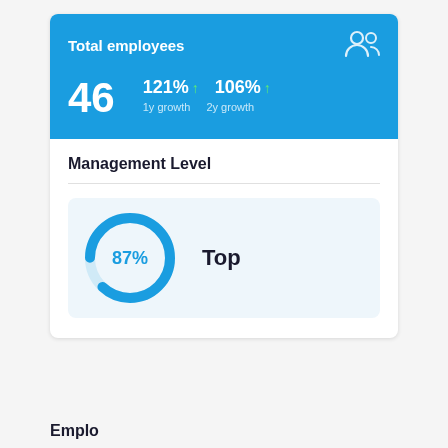[Figure (infographic): Total employees card with blue banner showing 46 employees, 121% 1y growth, 106% 2y growth]
Management Level
[Figure (donut-chart): Management Level]
Top
Emplo...